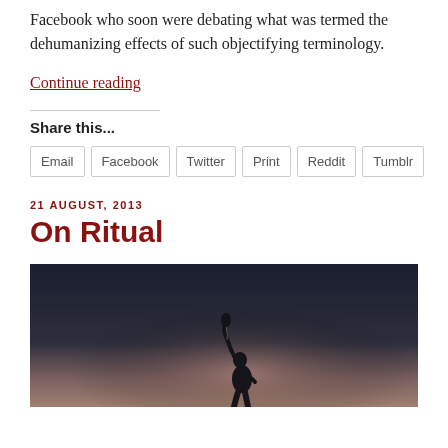Facebook who soon were debating what was termed the dehumanizing effects of such objectifying terminology.
Continue reading
Share this...
Email | Facebook | Twitter | Print | Reddit | Tumblr
21 AUGUST, 2013
On Ritual
[Figure (photo): Silhouette of a person holding an object aloft against a dark gradient background transitioning from dark blue-grey at top to warm pinkish-grey at bottom.]